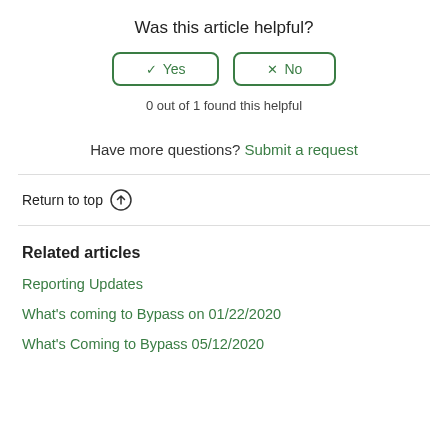Was this article helpful?
[Figure (other): Two buttons: checkmark Yes and X No, with green border]
0 out of 1 found this helpful
Have more questions? Submit a request
Return to top ↑
Related articles
Reporting Updates
What's coming to Bypass on 01/22/2020
What's Coming to Bypass 05/12/2020